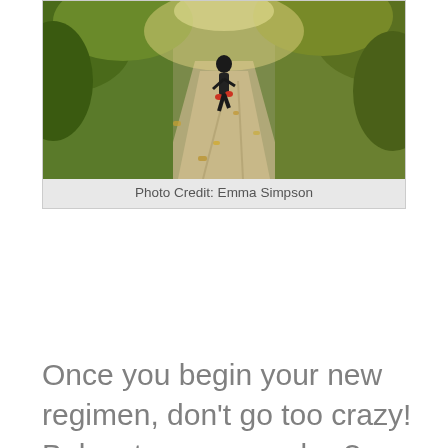[Figure (photo): A person jogging or walking away from the camera on a leaf-covered path with sunlight and green foliage on both sides]
Photo Credit: Emma Simpson
Once you begin your new regimen, don't go too crazy!  Baby steps, remember?  Instead, commit to walking three times a week for at least one month, working up from 20-minute walks to 30-minute walks by adding three minutes to each walk per week.  In short, remember the